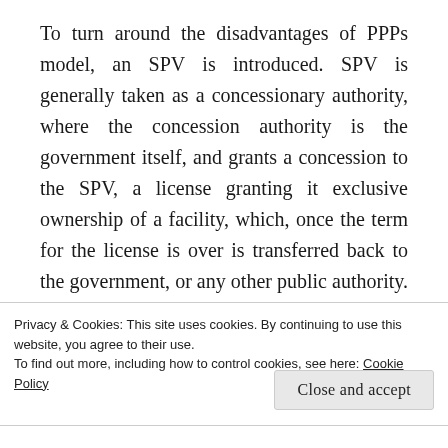To turn around the disadvantages of PPPs model, an SPV is introduced. SPV is generally taken as a concessionary authority, where the concession authority is the government itself, and grants a concession to the SPV, a license granting it exclusive ownership of a facility, which, once the term for the license is over is transferred back to the government, or any other public authority. The concession forms the contract between the government and SPV and goes under the name of project agreement. Things begin to get a bit murky here, for the readers be forewarned that this applicability is becoming a
Privacy & Cookies: This site uses cookies. By continuing to use this website, you agree to their use.
To find out more, including how to control cookies, see here: Cookie Policy
Close and accept